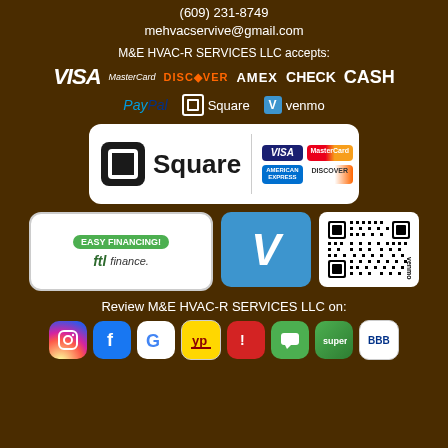(609) 231-8749
mehvacservive@gmail.com
M&E HVAC-R SERVICES LLC accepts:
[Figure (infographic): Payment method logos: VISA, MasterCard, DISCOVER, AMEX, CHECK, CASH]
[Figure (infographic): Digital payment logos: PayPal, Square, Venmo]
[Figure (logo): Square payment badge with card logos (Visa, MasterCard, AmericanExpress, Discover)]
[Figure (infographic): Easy Financing badge with ftl finance logo; Venmo badge with QR code]
Review M&E HVAC-R SERVICES LLC on:
[Figure (infographic): Social media review icons: Instagram, Facebook, Google, YP, Yelp, Message, Super, BBB]